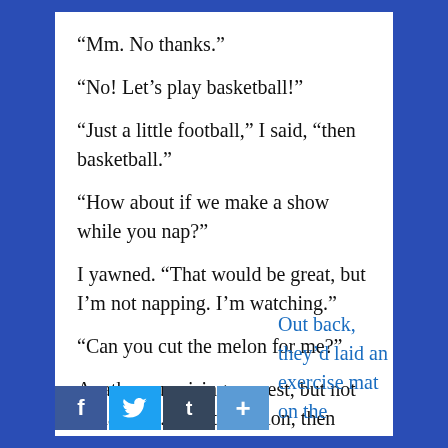“Mm. No thanks.”
“No! Let’s play basketball!”
“Just a little football,” I said, “then basketball.”
“How about if we make a show while you nap?”
I yawned. “That would be great, but I’m not napping. I’m watching.”
“Can you cut the melon for me?”
A rather surprising request, but not outlandish. I cut the melon, then stretched out on the couch while they played, and soon was completely unconscious. I woke up in the fourth quarter to them saying it was time.
Out back, they’d laid an exercise mat on the